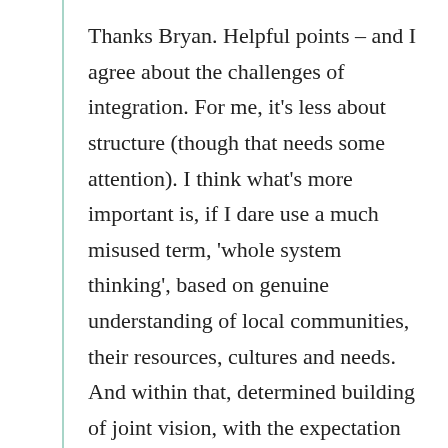Thanks Bryan. Helpful points – and I agree about the challenges of integration. For me, it's less about structure (though that needs some attention). I think what's more important is, if I dare use a much misused term, 'whole system thinking', based on genuine understanding of local communities, their resources, cultures and needs. And within that, determined building of joint vision, with the expectation of, and fostering of, collaboration, and relationships, supported by a far less commodified and industrialised